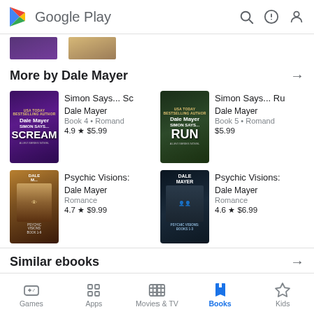Google Play
More by Dale Mayer
[Figure (illustration): Book cover: Simon Says... Scream by Dale Mayer]
Simon Says... Sc
Dale Mayer
Book 4 • Romance
4.9 ★ $5.99
[Figure (illustration): Book cover: Simon Says... Run by Dale Mayer]
Simon Says... Ru
Dale Mayer
Book 5 • Romance
$5.99
[Figure (illustration): Book cover: Psychic Visions by Dale Mayer (collection 1)]
Psychic Visions:
Dale Mayer
Romance
4.7 ★ $9.99
[Figure (illustration): Book cover: Psychic Visions: Books 1-3 by Dale Mayer]
Psychic Visions:
Dale Mayer
Romance
4.6 ★ $6.99
Similar ebooks
Games  Apps  Movies & TV  Books  Kids